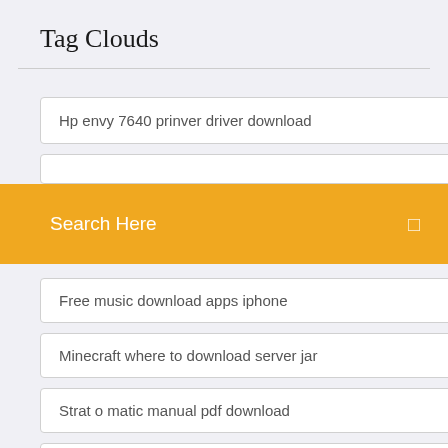Tag Clouds
Hp envy 7640 prinver driver download
Search Here
Free music download apps iphone
Minecraft where to download server jar
Strat o matic manual pdf download
Florida drivers license template download